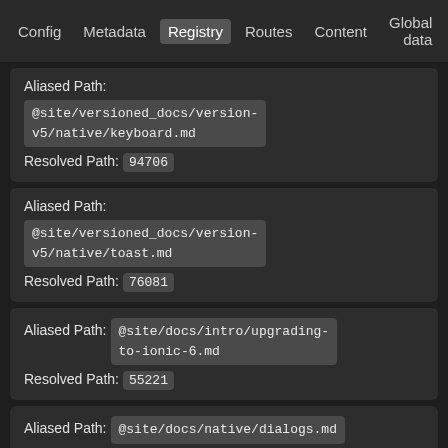Config  Metadata  Registry  Routes  Content  Global data
Aliased Path: @site/versioned_docs/version-v5/native/keyboard.md
Resolved Path: 94706
Aliased Path: @site/versioned_docs/version-v5/native/toast.md
Resolved Path: 76081
Aliased Path: @site/docs/intro/upgrading-to-ionic-6.md
Resolved Path: 55221
Aliased Path: @site/docs/native/dialogs.md